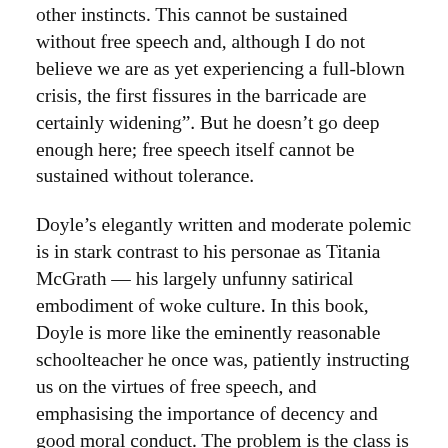other instincts. This cannot be sustained without free speech and, although I do not believe we are as yet experiencing a full-blown crisis, the first fissures in the barricade are certainly widening". But he doesn't go deep enough here; free speech itself cannot be sustained without tolerance.
Doyle's elegantly written and moderate polemic is in stark contrast to his personae as Titania McGrath — his largely unfunny satirical embodiment of woke culture. In this book, Doyle is more like the eminently reasonable schoolteacher he once was, patiently instructing us on the virtues of free speech, and emphasising the importance of decency and good moral conduct. The problem is the class is no longer a room of well-behaved students; his audience now resides in the cynical digital landscape, where there is little incentive for the kind of puritan self-control necessary for the free exchange of